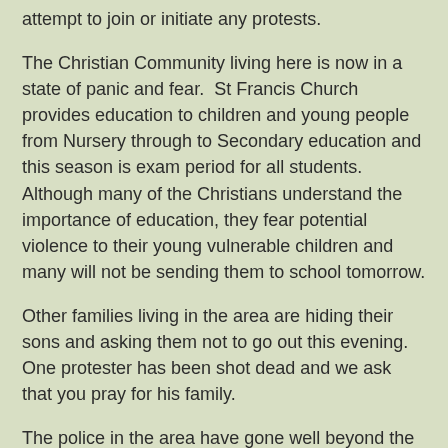attempt to join or initiate any protests.
The Christian Community living here is now in a state of panic and fear.  St Francis Church provides education to children and young people from Nursery through to Secondary education and this season is exam period for all students.  Although many of the Christians understand the importance of education, they fear potential violence to their young vulnerable children and many will not be sending them to school tomorrow.
Other families living in the area are hiding their sons and asking them not to go out this evening. One protester has been shot dead and we ask that you pray for his family.
The police in the area have gone well beyond the remit of their authority and have perniciously succeeded in silencing local humanitarian voices and leaders.  These are desperate times fro Christians of Lahore and we call for your prayers.
We will publish images and an update on this ongoing violent saga in Lahore as they arrive.